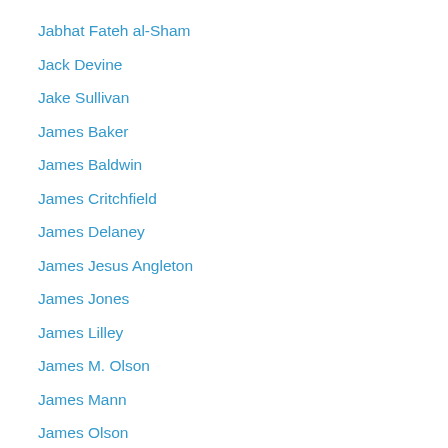Jabhat Fateh al-Sham
Jack Devine
Jake Sullivan
James Baker
James Baldwin
James Critchfield
James Delaney
James Jesus Angleton
James Jones
James Lilley
James M. Olson
James Mann
James Olson
Jan Gossaert
Jan Mabuse
Jang Song Thaek
Japan
Japanese Maritime Self-Defense JS Ise
Japanese Prime Minister Shinzo Abe
Japanese Prime Minister Shinzō Abe